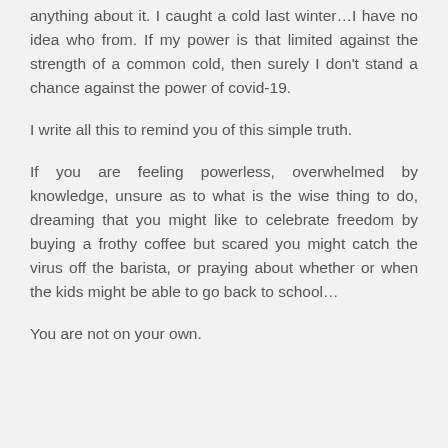anything about it. I caught a cold last winter…I have no idea who from. If my power is that limited against the strength of a common cold, then surely I don't stand a chance against the power of covid-19.
I write all this to remind you of this simple truth.
If you are feeling powerless, overwhelmed by knowledge, unsure as to what is the wise thing to do, dreaming that you might like to celebrate freedom by buying a frothy coffee but scared you might catch the virus off the barista, or praying about whether or when the kids might be able to go back to school…
You are not on your own.